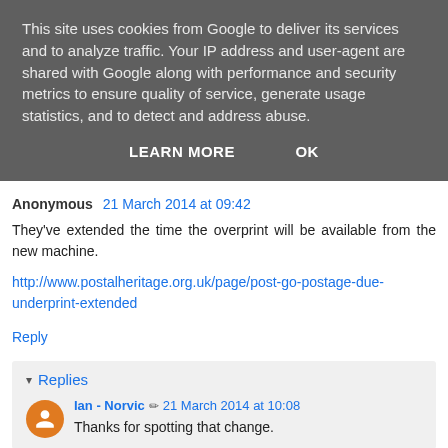This site uses cookies from Google to deliver its services and to analyze traffic. Your IP address and user-agent are shared with Google along with performance and security metrics to ensure quality of service, generate usage statistics, and to detect and address abuse.
LEARN MORE   OK
Anonymous 21 March 2014 at 09:42
They've extended the time the overprint will be available from the new machine.
http://www.postalheritage.org.uk/page/post-go-postage-due-underprint-extended
Reply
▾ Replies
Ian - Norvic ✏ 21 March 2014 at 10:08
Thanks for spotting that change.